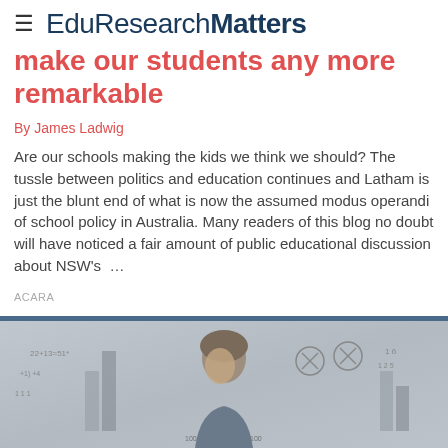EduResearchMatters
make our students any more remarkable
By James Ladwig
Are our schools making the kids we think we should? The tussle between politics and education continues and Latham is just the blunt end of what is now the assumed modus operandi of school policy in Australia. Many readers of this blog no doubt will have noticed a fair amount of public educational discussion about NSW's …
ACARA
[Figure (photo): A child standing in front of a chalkboard covered in mathematical equations and diagrams]